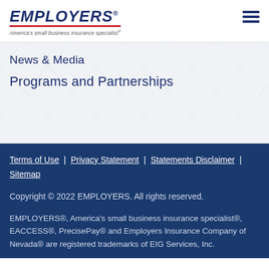[Figure (logo): EMPLOYERS logo with red underline and tagline 'America's small business insurance specialist®']
News & Media
Programs and Partnerships
Terms of Use | Privacy Statement | Statements Disclaimer | Sitemap
Copyright © 2022 EMPLOYERS. All rights reserved.
EMPLOYERS®, America's small business insurance specialist®, EACCESS®, PrecisePay® and Employers Insurance Company of Nevada® are registered trademarks of EIG Services, Inc.